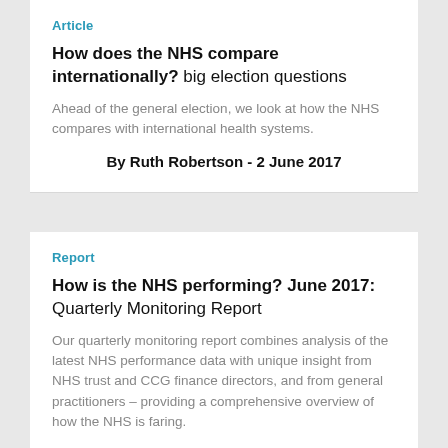Article
How does the NHS compare internationally? big election questions
Ahead of the general election, we look at how the NHS compares with international health systems.
By Ruth Robertson - 2 June 2017
Report
How is the NHS performing? June 2017: Quarterly Monitoring Report
Our quarterly monitoring report combines analysis of the latest NHS performance data with unique insight from NHS trust and CCG finance directors, and from general practitioners &ndash; providing a comprehensive overview of how the NHS is faring.